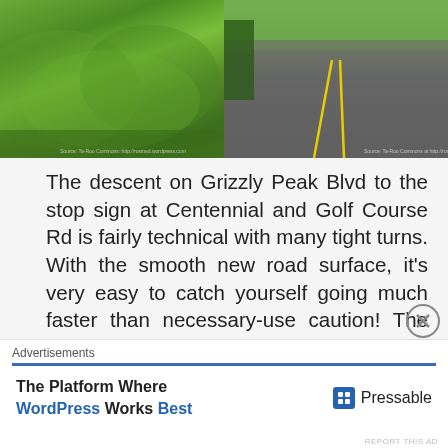[Figure (photo): Two side-by-side photos at top: left shows green hillside/mountain scenery, right shows a road with yellow center lines and trees]
The descent on Grizzly Peak Blvd to the stop sign at Centennial and Golf Course Rd is fairly technical with many tight turns. With the smooth new road surface, it's very easy to catch yourself going much faster than necessary-use caution! The descent on Golf Course Rd takes you into Tilden Park; the rolling climbs lead to the descent on Shasta Rd to Wildcat Canyon.
[Figure (photo): Two partial photos at bottom: left shows blue sky with tree, right shows misty/foggy road scene]
Advertisements
The Platform Where WordPress Works Best — Pressable